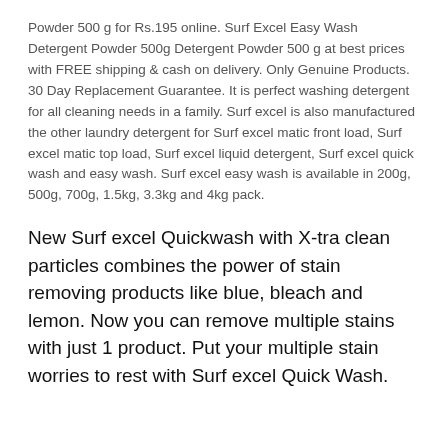Powder 500 g for Rs.195 online. Surf Excel Easy Wash Detergent Powder 500g Detergent Powder 500 g at best prices with FREE shipping & cash on delivery. Only Genuine Products. 30 Day Replacement Guarantee. It is perfect washing detergent for all cleaning needs in a family. Surf excel is also manufactured the other laundry detergent for Surf excel matic front load, Surf excel matic top load, Surf excel liquid detergent, Surf excel quick wash and easy wash. Surf excel easy wash is available in 200g, 500g, 700g, 1.5kg, 3.3kg and 4kg pack.
New Surf excel Quickwash with X-tra clean particles combines the power of stain removing products like blue, bleach and lemon. Now you can remove multiple stains with just 1 product. Put your multiple stain worries to rest with Surf excel Quick Wash.